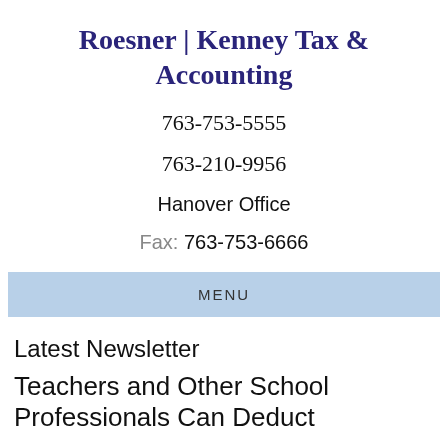Roesner | Kenney Tax & Accounting
763-753-5555
763-210-9956
Hanover Office
Fax: 763-753-6666
MENU
Latest Newsletter
Teachers and Other School Professionals Can Deduct